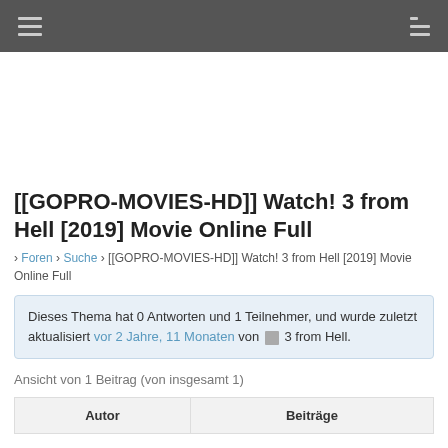Navigation bar with hamburger menu and list icon
[Figure (other): Advertisement area (blank white space)]
[[GOPRO-MOVIES-HD]] Watch! 3 from Hell [2019] Movie Online Full
› Foren › Suche › [[GOPRO-MOVIES-HD]] Watch! 3 from Hell [2019] Movie Online Full
Dieses Thema hat 0 Antworten und 1 Teilnehmer, und wurde zuletzt aktualisiert vor 2 Jahre, 11 Monaten von 3 from Hell.
Ansicht von 1 Beitrag (von insgesamt 1)
| Autor | Beiträge |
| --- | --- |